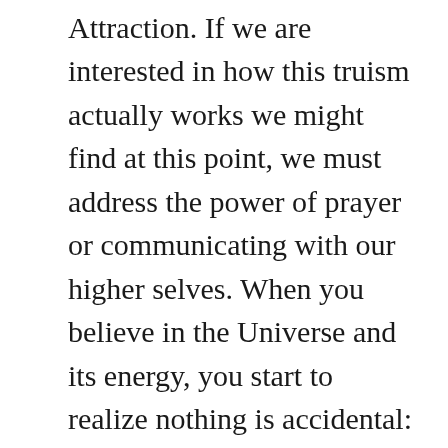you give....or The Law of Attraction. If we are interested in how this truism actually works we might find at this point, we must address the power of prayer or communicating with our higher selves. When you believe in the Universe and its energy, you start to realize nothing is accidental: God, our Creator or force or life is continuous. This Universal Life Source orchestrated the energy to work for our benefit. Prayer and communication with the Universe and asking for what is needed is part of that energy system: to better our lives and the lives of others. Imagine how a group of people praying for the same result may create miracles. Jesus was actually teaching the Law of Attraction, a spiritual energetic law in this